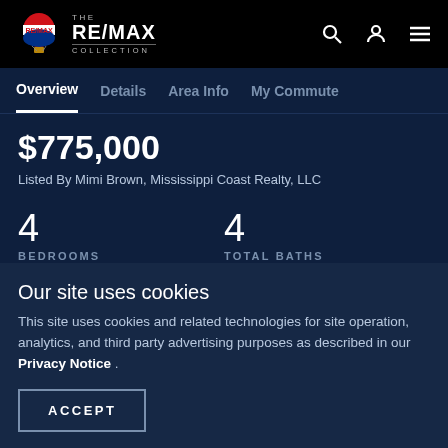THE RE/MAX COLLECTION
Overview  Details  Area Info  My Commute
$775,000
Listed By Mimi Brown, Mississippi Coast Realty, LLC
4 BEDROOMS
4 TOTAL BATHS
3 FULL BATHS
2,873 SQUARE FEET
Our site uses cookies
This site uses cookies and related technologies for site operation, analytics, and third party advertising purposes as described in our Privacy Notice .
ACCEPT